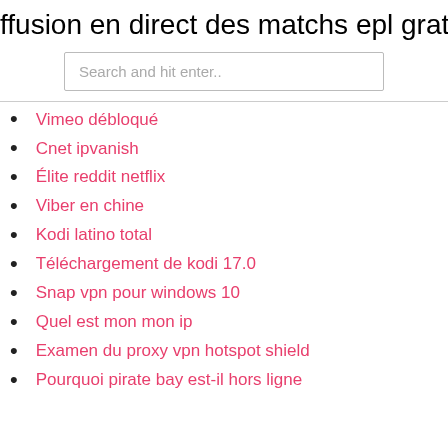ffusion en direct des matchs epl gratu
[Figure (screenshot): Search input box with placeholder text 'Search and hit enter..']
Vimeo débloqué
Cnet ipvanish
Élite reddit netflix
Viber en chine
Kodi latino total
Téléchargement de kodi 17.0
Snap vpn pour windows 10
Quel est mon mon ip
Examen du proxy vpn hotspot shield
Pourquoi pirate bay est-il hors ligne